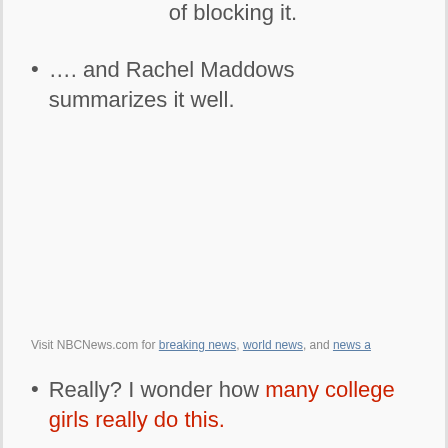of blocking it.
…. and Rachel Maddows summarizes it well.
Visit NBCNews.com for breaking news, world news, and news a
Really? I wonder how many college girls really do this.